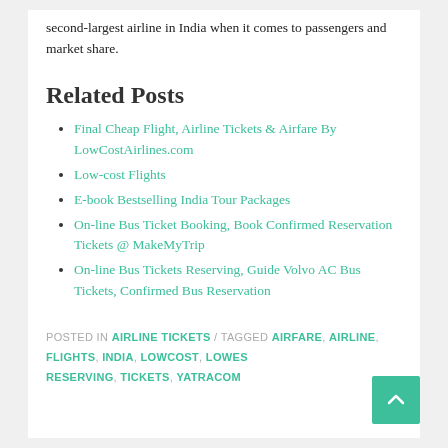second-largest airline in India when it comes to passengers and market share.
Related Posts
Final Cheap Flight, Airline Tickets & Airfare By LowCostAirlines.com
Low-cost Flights
E-book Bestselling India Tour Packages
On-line Bus Ticket Booking, Book Confirmed Reservation Tickets @ MakeMyTrip
On-line Bus Tickets Reserving, Guide Volvo AC Bus Tickets, Confirmed Bus Reservation
POSTED IN AIRLINE TICKETS / TAGGED AIRFARE, AIRLINE, FLIGHTS, INDIA, LOWCOST, LOWEST, RESERVING, TICKETS, YATRACOM